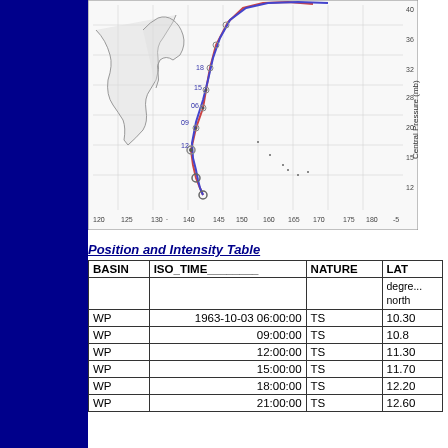[Figure (map): Tropical cyclone track map showing path over western Pacific, with red and blue trajectory lines, numbered time markers, and latitude/longitude grid. A secondary pressure chart axis label visible at right edge.]
Position and Intensity Table
| BASIN | ISO_TIME | NATURE | LAT |
| --- | --- | --- | --- |
|  |  |  | degrees north |
| WP | 1963-10-03 06:00:00 | TS | 10.30 |
| WP | 09:00:00 | TS | 10.8 |
| WP | 12:00:00 | TS | 11.30 |
| WP | 15:00:00 | TS | 11.70 |
| WP | 18:00:00 | TS | 12.20 |
| WP | 21:00:00 | TS | 12.60 |